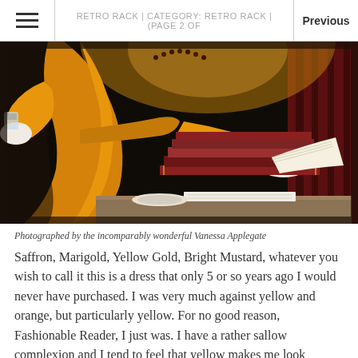RETRO RACK | CATEGORY: RETRO RACK | (PAGE 2 OF
[Figure (photo): Woman in a golden-yellow/saffron long dress wearing white gloves, holding a glass in one hand and leaning over a stack of antique books on a table, photographed against a dark background with dramatic lighting.]
Photographed by the incomparably wonderful Vanessa Applegate
Saffron, Marigold, Yellow Gold, Bright Mustard, whatever you wish to call it this is a dress that only 5 or so years ago I would never have purchased. I was very much against yellow and orange, but particularly yellow. For no good reason, Fashionable Reader, I just was. I have a rather sallow complexion and I tend to feel that yellow makes me look jaundiced. In fact, this particular shade